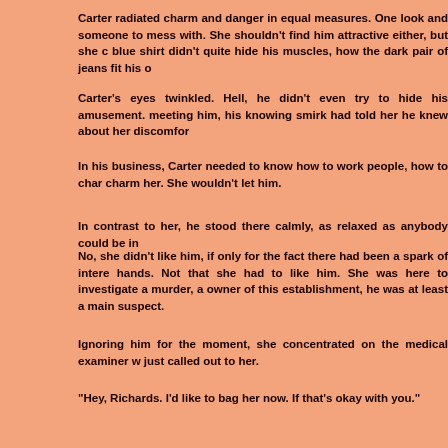Carter radiated charm and danger in equal measures. One look and someone to mess with. She shouldn't find him attractive either, but she c blue shirt didn't quite hide his muscles, how the dark pair of jeans fit his o
Carter's eyes twinkled. Hell, he didn't even try to hide his amusement. meeting him, his knowing smirk had told her he knew about her discomfor
In his business, Carter needed to know how to work people, how to char charm her. She wouldn't let him.
In contrast to her, he stood there calmly, as relaxed as anybody could be in
No, she didn't like him, if only for the fact there had been a spark of intere hands. Not that she had to like him. She was here to investigate a murder, a owner of this establishment, he was at least a main suspect.
Ignoring him for the moment, she concentrated on the medical examiner w just called out to her.
“Hey, Richards. I’d like to bag her now. If that’s okay with you.”
She returned his smile. He looked tired, and she wouldn’t be surprised if again.
“Sure. When do you think you’ll have first results?”
“Whenever I’ll have them.” He raised a hand to forestall the complaint b